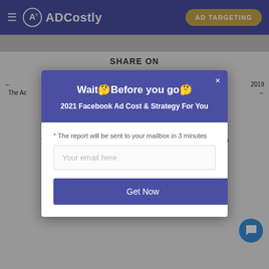ADCostly | AD TARGETING
SHARE ON
Twitter | Pin It
← The Ac... 2019
The Ac... t 2019 →
The Ac... t 2019
The Actio... ugust 2019
The A... 2019
The Action category facebook ads cost in France August 2019
The Action category facebook ads cost in Germany August 2019
[Figure (screenshot): Modal popup with header 'Wait Before you go!' and subtitle '2021 Facebook Ad Cost & Strategy For You', containing email input field with placeholder 'Your email here' and a 'Get Now' button]
ADCostly